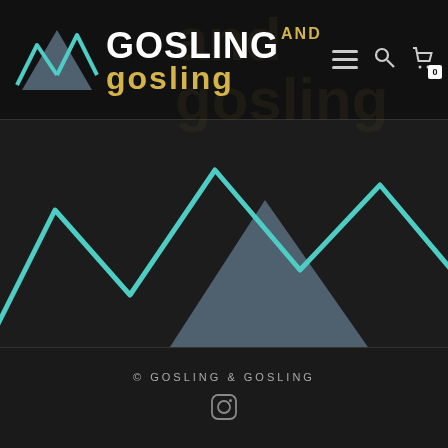[Figure (logo): Gosling and Gosling logo with mountain graphic icon (grey filled triangle and teal/mint outline mountain peaks), text 'GOSLING' in white uppercase bold, 'and' in gold/yellow smaller text, 'gosling' in gold/yellow lowercase — navigation bar also contains hamburger menu, search icon, and cart icon with badge '0']
[Figure (illustration): Large mountain graphic on dark background: a grey/slate filled triangle mountain in center-left, overlaid with teal/mint outline zigzag mountain peaks extending across the image. Background is near-black. Faint watermark text 'and gosling' visible behind the header.]
© GOSLING & GOSLING
[Figure (logo): Instagram camera icon in grey/dark, centered in footer area]